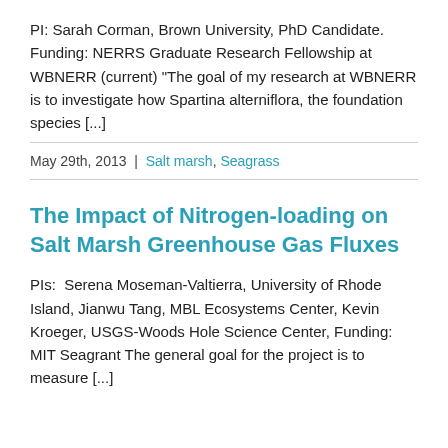PI: Sarah Corman, Brown University, PhD Candidate. Funding: NERRS Graduate Research Fellowship at WBNERR (current) "The goal of my research at WBNERR is to investigate how Spartina alterniflora, the foundation species [...]
May 29th, 2013  |  Salt marsh, Seagrass
The Impact of Nitrogen-loading on Salt Marsh Greenhouse Gas Fluxes
PIs:  Serena Moseman-Valtierra, University of Rhode Island, Jianwu Tang, MBL Ecosystems Center, Kevin Kroeger, USGS-Woods Hole Science Center, Funding: MIT Seagrant The general goal for the project is to measure [...]